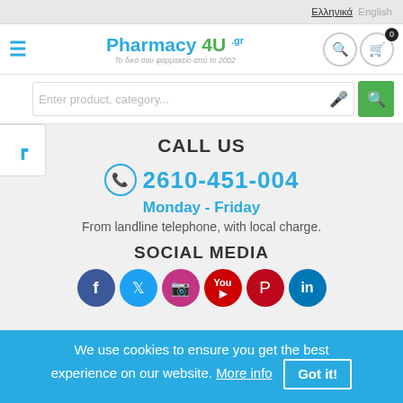Ελληνικά  English
[Figure (logo): Pharmacy 4U .gr logo with subtitle: Το δικό σου φαρμακείο από το 2002]
[Figure (screenshot): Search bar with placeholder text: Enter product, category... with microphone and search icons]
CALL US
2610-451-004
Monday - Friday
From landline telephone, with local charge.
SOCIAL MEDIA
[Figure (infographic): Social media icons: Facebook, Twitter, Instagram, YouTube, Pinterest, LinkedIn]
We use cookies to ensure you get the best experience on our website. More info  Got it!